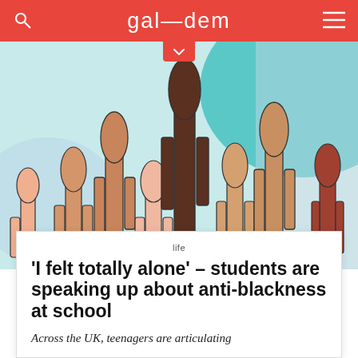gal—dem
[Figure (illustration): Illustration of multiple raised hands in various skin tones against a teal and light blue background with abstract shapes.]
life
'I felt totally alone' – students are speaking up about anti-blackness at school
Across the UK, teenagers are articulating